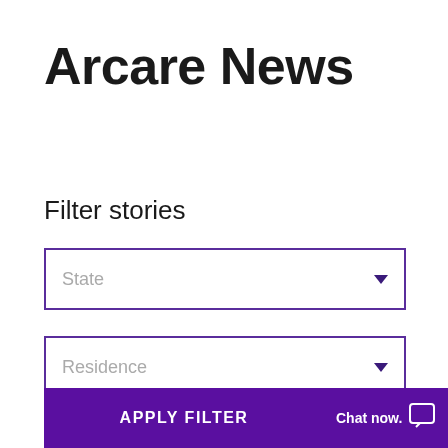Arcare News
Filter stories
State
Residence
APPLY FILTER
Chat now.